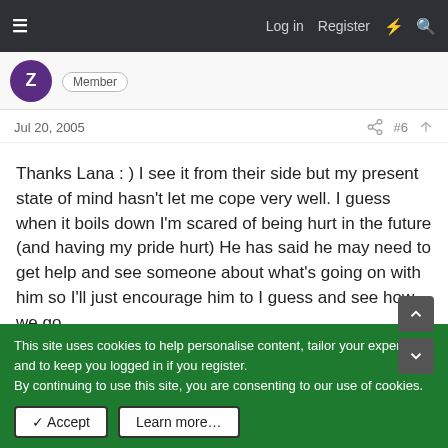Log in   Register
Member
Jul 20, 2005   #6
Thanks Lana : ) I see it from their side but my present state of mind hasn't let me cope very well. I guess when it boils down I'm scared of being hurt in the future (and having my pride hurt) He has said he may need to get help and see someone about what's going on with him so I'll just encourage him to I guess and see how we go.
ThatLady
This site uses cookies to help personalise content, tailor your experience and to keep you logged in if you register.
By continuing to use this site, you are consenting to our use of cookies.